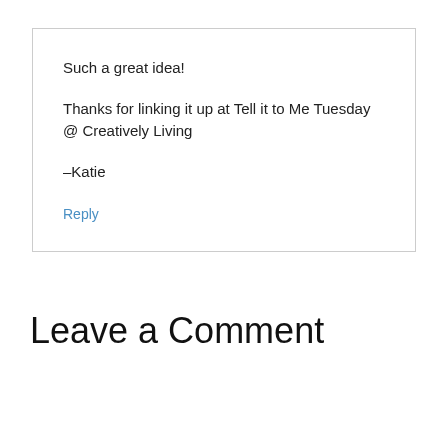Such a great idea!
Thanks for linking it up at Tell it to Me Tuesday @ Creatively Living
–Katie
Reply
Leave a Comment